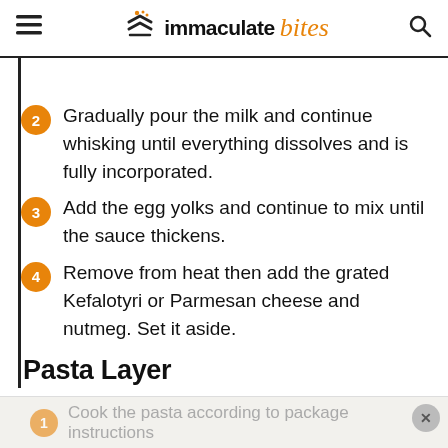immaculate bites
Gradually pour the milk and continue whisking until everything dissolves and is fully incorporated.
Add the egg yolks and continue to mix until the sauce thickens.
Remove from heat then add the grated Kefalotyri or Parmesan cheese and nutmeg. Set it aside.
Pasta Layer
Cook the pasta according to package instructions